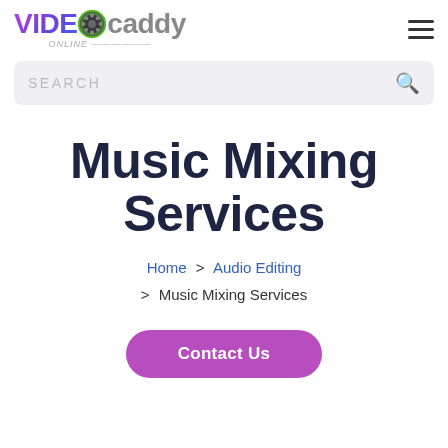VIDEOcaddy [logo with film reel icon]
Music Mixing Services
Home > Audio Editing > Music Mixing Services
Contact Us